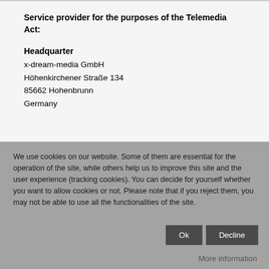Service provider for the purposes of the Telemedia Act:
Headquarter
x-dream-media GmbH
Höhenkirchener Straße 134
85662 Hohenbrunn
Germany
We use cookies on our website. Some of them are essential for the operation of the site, while others help us to improve this site and the user experience (tracking cookies). You can decide for yourself whether you want to allow cookies or not. Please note that if you reject them, you may not be able to use all the functionalities of the site.